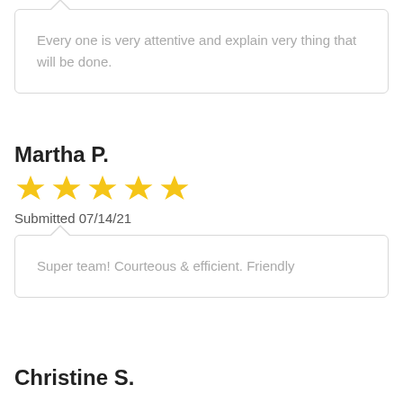Every one is very attentive and explain very thing that will be done.
Martha P.
[Figure (other): 5 yellow star rating icons]
Submitted 07/14/21
Super team! Courteous & efficient. Friendly
Christine S.